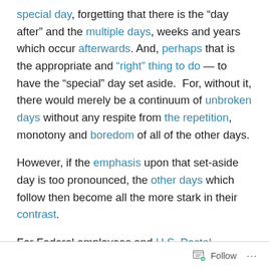special day, forgetting that there is the "day after" and the multiple days, weeks and years which occur afterwards. And, perhaps that is the appropriate and "right" thing to do — to have the "special" day set aside. For, without it, there would merely be a continuum of unbroken days without any respite from the repetition, monotony and boredom of all of the other days.
However, if the emphasis upon that set-aside day is too pronounced, the other days which follow then become all the more stark in their contrast.
For Federal employees and U.S. Postal workers who come to realize that the day after the anticipated time brings back the same as the days before, and that a
Follow ···